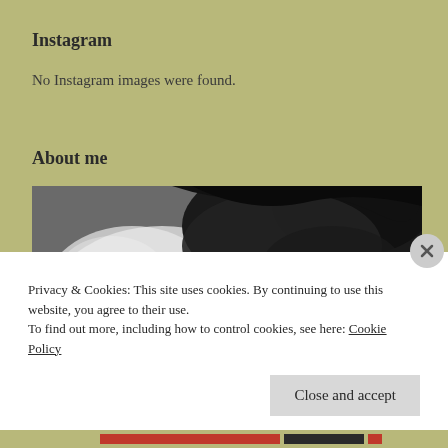Instagram
No Instagram images were found.
About me
[Figure (photo): Black and white close-up photograph of a person's face and curly hair, viewed from the side/below]
Privacy & Cookies: This site uses cookies. By continuing to use this website, you agree to their use.
To find out more, including how to control cookies, see here: Cookie Policy
Close and accept